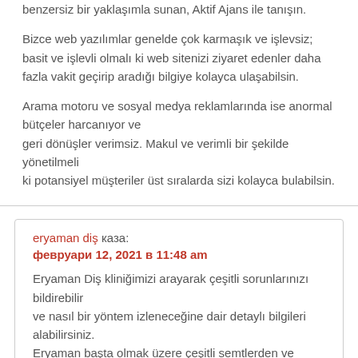benzersiz bir yaklaşımla sunan, Aktif Ajans ile tanışın.

Bizce web yazılımlar genelde çok karmaşık ve işlevsiz; basit ve işlevli olmalı ki web sitenizi ziyaret edenler daha fazla vakit geçirip aradığı bilgiye kolayca ulaşabilsin.

Arama motoru ve sosyal medya reklamlarında ise anormal bütçeler harcanıyor ve
geri dönüşler verimsiz. Makul ve verimli bir şekilde yönetilmeli
ki potansiyel müşteriler üst sıralarda sizi kolayca bulabilsin.
eryaman diş kaza:
февруари 12, 2021 в 11:48 am
Eryaman Diş kliniğimizi arayarak çeşitli sorunlarınızı bildirebilir
ve nasıl bir yöntem izleneceğine dair detaylı bilgileri alabilirsiniz.
Eryaman başta olmak üzere çeşitli semtlerden ve